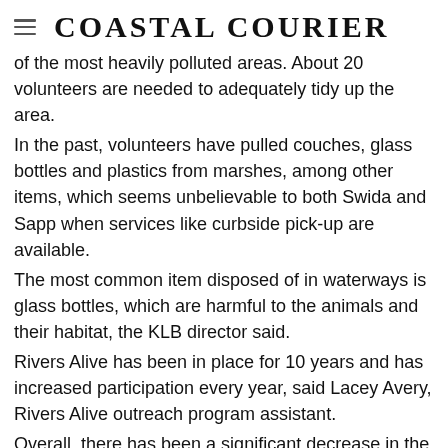Coastal Courier
of the most heavily polluted areas. About 20 volunteers are needed to adequately tidy up the area. In the past, volunteers have pulled couches, glass bottles and plastics from marshes, among other items, which seems unbelievable to both Swida and Sapp when services like curbside pick-up are available. The most common item disposed of in waterways is glass bottles, which are harmful to the animals and their habitat, the KLB director said. Rivers Alive has been in place for 10 years and has increased participation every year, said Lacey Avery, Rivers Alive outreach program assistant. Overall, there has been a significant decrease in the amount of trash collected during Rivers Alive events at different sites around the state from August through December, showing that the initiative is working, Avery said. She blames improper garbage disposal and carelessness on lack